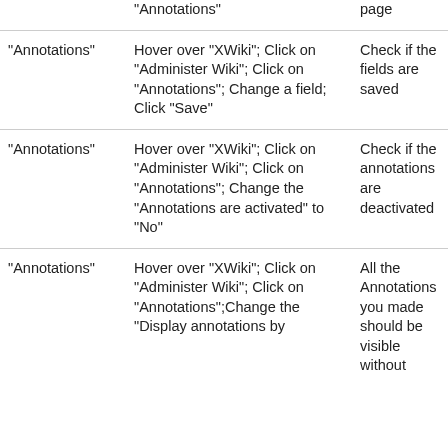| "Annotations" | "Annotations" | page |  |
| "Annotations" | Hover over "XWiki"; Click on "Administer Wiki"; Click on "Annotations"; Change a field; Click "Save" | Check if the fields are saved |  |
| "Annotations" | Hover over "XWiki"; Click on "Administer Wiki"; Click on "Annotations"; Change the "Annotations are activated" to "No" | Check if the annotations are deactivated |  |
| "Annotations" | Hover over "XWiki"; Click on "Administer Wiki"; Click on "Annotations";Change the "Display annotations by | All the Annotations you made should be visible without |  |